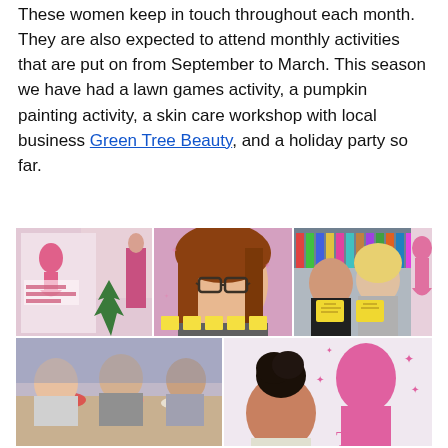These women keep in touch throughout each month. They are also expected to attend monthly activities that are put on from September to March. This season we have had a lawn games activity, a pumpkin painting activity, a skin care workshop with local business Green Tree Beauty, and a holiday party so far.
[Figure (photo): A collage of six photos showing women at various activities at The Princess Shop. Top row: a pink Princess Shop banner display, a close-up of a woman with glasses and auburn hair, and two women holding yellow signs in front of colorful dresses. Bottom row: a group of women sitting at a table laughing, and a woman with dark hair in an updo near a pink mannequin silhouette.]